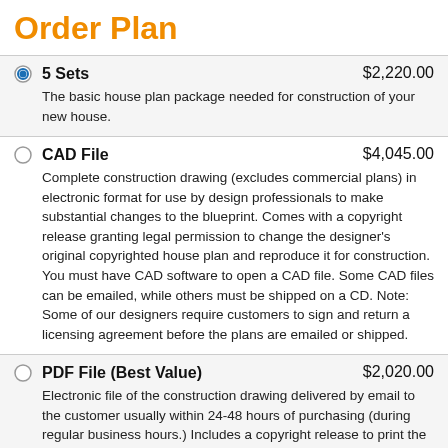Order Plan
5 Sets — $2,220.00 — The basic house plan package needed for construction of your new house.
CAD File — $4,045.00 — Complete construction drawing (excludes commercial plans) in electronic format for use by design professionals to make substantial changes to the blueprint. Comes with a copyright release granting legal permission to change the designer's original copyrighted house plan and reproduce it for construction. You must have CAD software to open a CAD file. Some CAD files can be emailed, while others must be shipped on a CD. Note: Some of our designers require customers to sign and return a licensing agreement before the plans are emailed or shipped.
PDF File (Best Value) — $2,020.00 — Electronic file of the construction drawing delivered by email to the customer usually within 24-48 hours of purchasing (during regular business hours.) Includes a copyright release to print the blueprints needed for